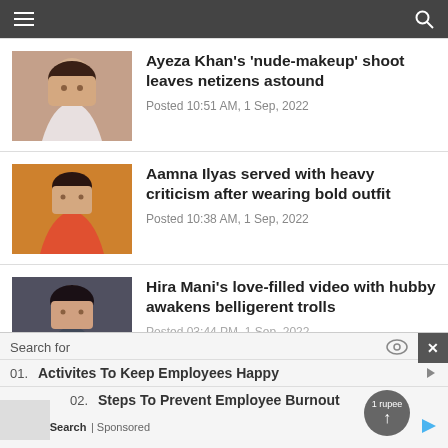Navigation header with hamburger menu and search icon
[Figure (photo): Portrait photo of Ayeza Khan, a woman with dark hair]
Ayeza Khan’s ‘nude-makeup’ shoot leaves netizens astound
Posted 10:51 AM, 1 Sep, 2022
[Figure (photo): Photo of Aamna Ilyas in a red/orange bold outfit]
Aamna Ilyas served with heavy criticism after wearing bold outfit
Posted 10:38 AM, 1 Sep, 2022
[Figure (photo): Photo of Hira Mani in a dark jacket]
Hira Mani’s love-filled video with hubby awakens belligerent trolls
Posted 03:44 PM, 1 Sep, 2022
Search for
01. Activites To Keep Employees Happy
02. Steps To Prevent Employee Burnout
Yahoo! Search | Sponsored